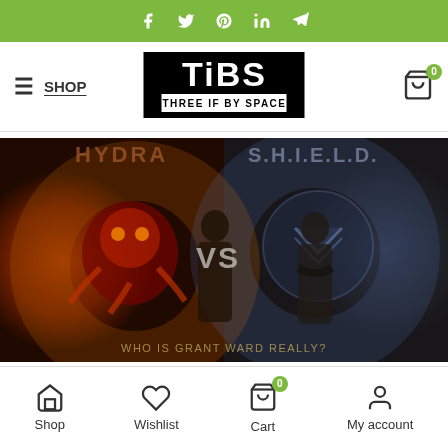Social bar with icons: Facebook, Twitter, Pinterest, LinkedIn, Telegram
[Figure (screenshot): TiBS (Three If By Space) website header with hamburger menu, SHOP link, TiBS logo, and cart icon with 0 badge]
[Figure (photo): HYDRA vs S.H.I.E.L.D. promotional image with two characters standing back to back, text reading 'WHO IS GRANT WARD REALLY?']
Shop | Wishlist | Cart (0) | My account